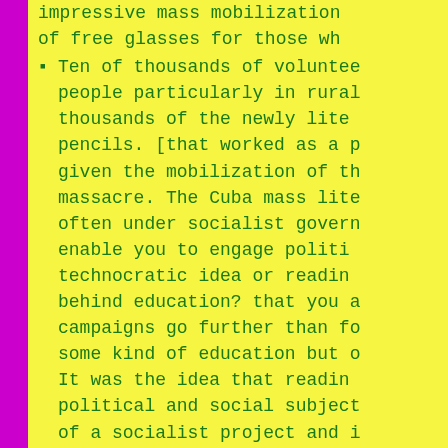impressive mass mobilization of free glasses for those wh
Ten of thousands of voluntee people particularly in rural thousands of the newly lite pencils. [that worked as a given the mobilization of th massacre. The Cuba mass lite often under socialist govern enable you to engage politi technocratic idea or readin behind education? that you campaigns go further than f some kind of education but It was the idea that readin political and social subjec of a socialist project and it was so successful becaus for its own sake. thinking; versus writing as an active